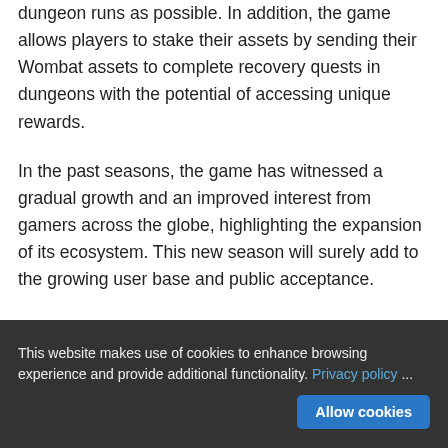dungeon runs as possible. In addition, the game allows players to stake their assets by sending their Wombat assets to complete recovery quests in dungeons with the potential of accessing unique rewards.
In the past seasons, the game has witnessed a gradual growth and an improved interest from gamers across the globe, highlighting the expansion of its ecosystem. This new season will surely add to the growing user base and public acceptance.
Additional information on the new season can be accessed via the Wombat Dungeon Master website.
This website makes use of cookies to enhance browsing experience and provide additional functionality. Privacy policy   Allow cookies